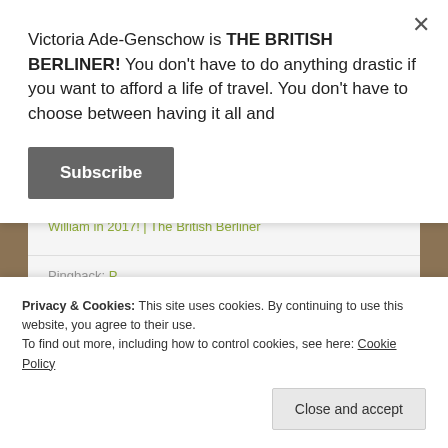Victoria Ade-Genschow is THE BRITISH BERLINER! You don't have to do anything drastic if you want to afford a life of travel. You don't have to choose between having it all and
Subscribe
Pingback: How I went to 8 wonderful countries, got heaps of expat awards, was on radio with the BBC, & met Prince William in 2017! | The British Berliner
Privacy & Cookies: This site uses cookies. By continuing to use this website, you agree to their use.
To find out more, including how to control cookies, see here: Cookie Policy
Close and accept
Pingback: I'm going to Poland, Georgia & Ukraine –